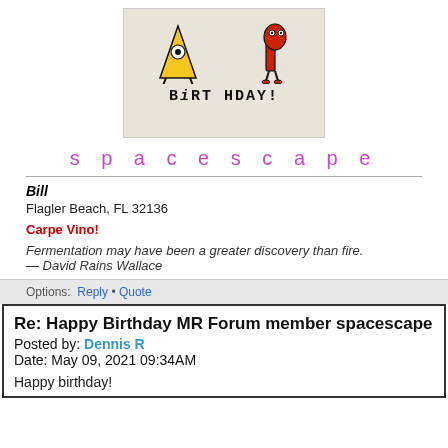[Figure (illustration): Birthday card with two cartoon monster characters (a yellow A-shaped monster and a red P-shaped monster) on a beige background with the text 'BIRTHDAY!' below them]
s p a c e s c a p e
Bill
Flagler Beach, FL 32136
Carpe Vino!
Fermentation may have been a greater discovery than fire.
— David Rains Wallace
Options:  Reply • Quote
Re: Happy Birthday MR Forum member spacescape
Posted by: Dennis R
Date: May 09, 2021 09:34AM
Happy birthday!